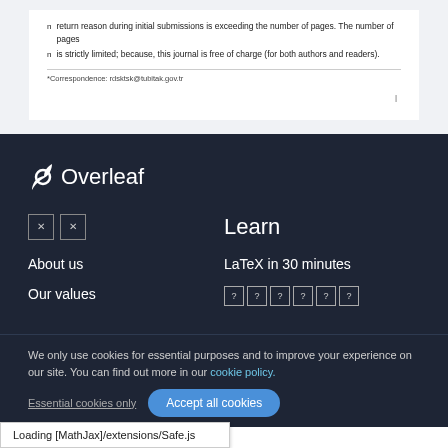return reason during initial submissions is exceeding the number of pages. The number of pages
is strictly limited; because, this journal is free of charge (for both authors and readers).
*Correspondence: rdsktsk@tubitak.gov.tr
[Figure (screenshot): Overleaf website footer with logo, social icons, navigation links (About us, Our values), Learn section with LaTeX in 30 minutes link and unknown character boxes]
We only use cookies for essential purposes and to improve your experience on our site. You can find out more in our cookie policy.
Essential cookies only   Accept all cookies
Loading [MathJax]/extensions/Safe.js